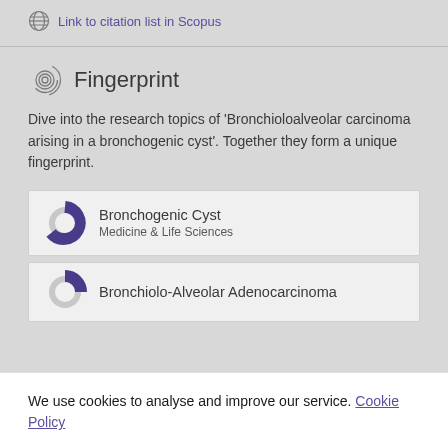Link to citation list in Scopus
Fingerprint
Dive into the research topics of 'Bronchioloalveolar carcinoma arising in a bronchogenic cyst'. Together they form a unique fingerprint.
Bronchogenic Cyst — Medicine & Life Sciences
Bronchiolo-Alveolar Adenocarcinoma
We use cookies to analyse and improve our service. Cookie Policy